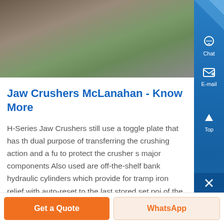[Figure (photo): Outdoor photo showing crushed rock/aggregate material on the ground with green foliage visible, partially cropped at top]
Jaw Crushers McLanahan - Know More
H-Series Jaw Crushers still use a toggle plate that has the dual purpose of transferring the crushing action and a fuse to protect the crusher s major components Also used are off-the-shelf bank hydraulic cylinders which provide for tramp iron relief with auto-reset to the last stored set point of the closed side setting...